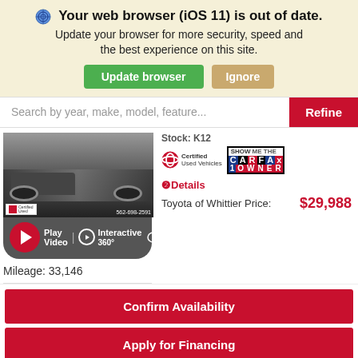🌐 Your web browser (iOS 11) is out of date. Update your browser for more security, speed and the best experience on this site.
Update browser | Ignore
Search by year, make, model, feature...
Refine
[Figure (photo): Car image with Toyota Certified Used Vehicles badge and phone number 562-698-2591, plus Play Video and Interactive 360 overlay bar]
Mileage: 33,146
Stock: K12
[Figure (logo): Toyota Certified Used Vehicles logo]
[Figure (logo): SHOW ME THE CARFAX 1 OWNER badge]
❷Details
Toyota of Whittier Price:
$29,988
Confirm Availability
Apply for Financing
[Figure (logo): Toyota of Whittier dealership logo strip]
Certified Pre-Owned 2021